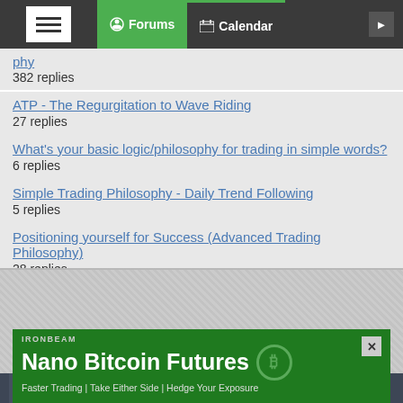Forums | Calendar
382 replies
ATP - The Regurgitation to Wave Riding
27 replies
What's your basic logic/philosophy for trading in simple words?
6 replies
Simple Trading Philosophy - Daily Trend Following
5 replies
Positioning yourself for Success (Advanced Trading Philosophy)
28 replies
[Figure (screenshot): Gray textured area below forum list]
Top of Page
[Figure (logo): Dark blue footer with logo mark]
[Figure (infographic): Ironbeam advertisement banner: Nano Bitcoin Futures - Faster Trading | Take Either Side | Hedge Your Exposure]